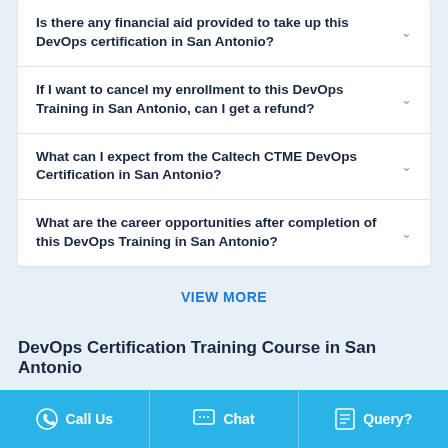Is there any financial aid provided to take up this DevOps certification in San Antonio?
If I want to cancel my enrollment to this DevOps Training in San Antonio, can I get a refund?
What can I expect from the Caltech CTME DevOps Certification in San Antonio?
What are the career opportunities after completion of this DevOps Training in San Antonio?
VIEW MORE
DevOps Certification Training Course in San Antonio
Call Us   Chat   Query?